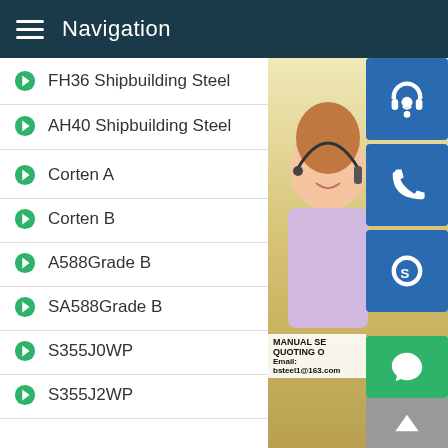Navigation
FH36 Shipbuilding Steel
AH40 Shipbuilding Steel
Corten A
Corten B
A588Grade B
SA588Grade B
S355J0WP
S355J2WP
S355J2W
S355J2WP
09CuPCrNi-A
[Figure (photo): Customer service representative woman with headset smiling, with contact icons (headset, phone, Skype) and text: MANUAL SE..., QUOTING O..., Email: bsteel1@163.com]